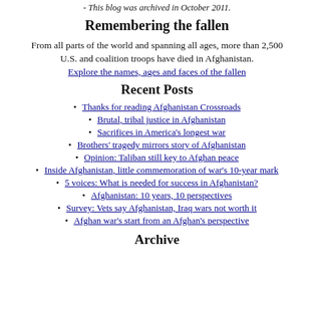- This blog was archived in October 2011.
Remembering the fallen
From all parts of the world and spanning all ages, more than 2,500 U.S. and coalition troops have died in Afghanistan.
Explore the names, ages and faces of the fallen
Recent Posts
Thanks for reading Afghanistan Crossroads
Brutal, tribal justice in Afghanistan
Sacrifices in America's longest war
Brothers' tragedy mirrors story of Afghanistan
Opinion: Taliban still key to Afghan peace
Inside Afghanistan, little commemoration of war's 10-year mark
5 voices: What is needed for success in Afghanistan?
Afghanistan: 10 years, 10 perspectives
Survey: Vets say Afghanistan, Iraq wars not worth it
Afghan war's start from an Afghan's perspective
Archive